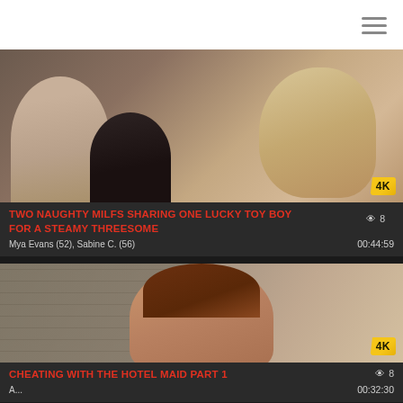[Figure (screenshot): Website header with hamburger menu icon on white background]
[Figure (photo): Thumbnail image of three people for video titled TWO NAUGHTY MILFS SHARING ONE LUCKY TOY BOY FOR A STEAMY THREESOME with 4K badge]
TWO NAUGHTY MILFS SHARING ONE LUCKY TOY BOY FOR A STEAMY THREESOME
Mya Evans (52), Sabine C. (56)
00:44:59
8
[Figure (photo): Thumbnail image of person for video titled CHEATING WITH THE HOTEL MAID PART 1 with 4K badge]
CHEATING WITH THE HOTEL MAID PART 1
8
00:32:30